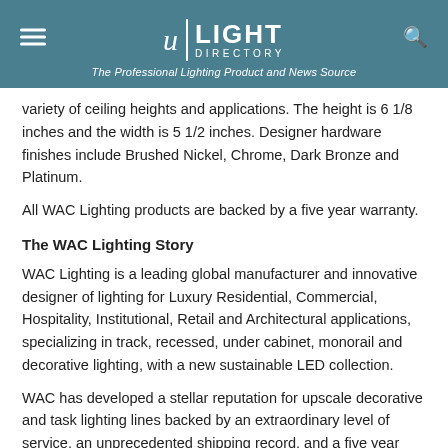Light Directory — The Professional Lighting Product and News Source
variety of ceiling heights and applications. The height is 6 1/8 inches and the width is 5 1/2 inches. Designer hardware finishes include Brushed Nickel, Chrome, Dark Bronze and Platinum.
All WAC Lighting products are backed by a five year warranty.
The WAC Lighting Story
WAC Lighting is a leading global manufacturer and innovative designer of lighting for Luxury Residential, Commercial, Hospitality, Institutional, Retail and Architectural applications, specializing in track, recessed, under cabinet, monorail and decorative lighting, with a new sustainable LED collection.
WAC has developed a stellar reputation for upscale decorative and task lighting lines backed by an extraordinary level of service, an unprecedented shipping record, and a five year product warranty.